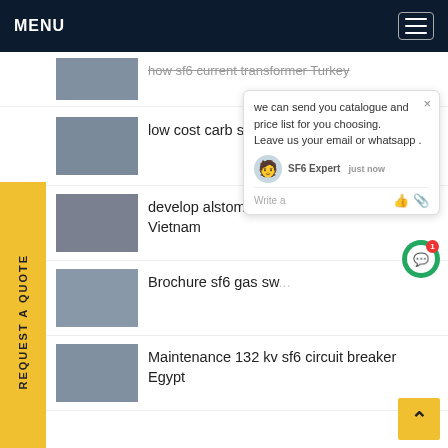MENU
how sf6 current transformer Turkey
low cost carb sf6 Russia
develop alstom sf6 circuit breaker Vietnam
Brochure sf6 gas switchgear
Maintenance 132 kv sf6 circuit breaker Egypt
[Figure (screenshot): Chat popup with SF6 Expert offering catalogue and price list, with avatar and input field]
REQUEST A QUOTE